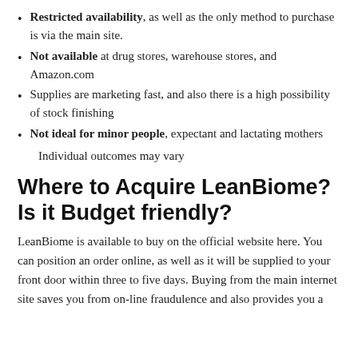Restricted availability, as well as the only method to purchase is via the main site.
Not available at drug stores, warehouse stores, and Amazon.com
Supplies are marketing fast, and also there is a high possibility of stock finishing
Not ideal for minor people, expectant and lactating mothers
Individual outcomes may vary
Where to Acquire LeanBiome? Is it Budget friendly?
LeanBiome is available to buy on the official website here. You can position an order online, as well as it will be supplied to your front door within three to five days. Buying from the main internet site saves you from on-line fraudulence and also provides you a